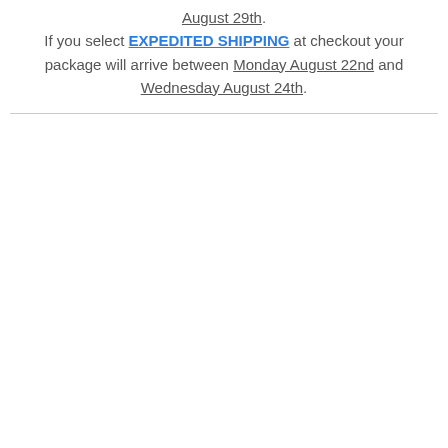August 29th. If you select EXPEDITED SHIPPING at checkout your package will arrive between Monday August 22nd and Wednesday August 24th.